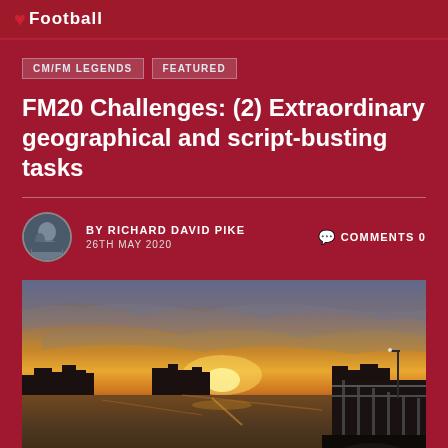Football
CM/FM LEGENDS
FEATURED
FM20 Challenges: (2) Extraordinary geographical and script-busting tasks
BY RICHARD DAVID PIKE   COMMENTS 0
26TH MAY 2020
[Figure (photo): A sunset photo taken from a waterfront pier or boardwalk, with a city skyline silhouetted against a dramatic orange and cloudy sky, water in the foreground and a railing on the right side.]